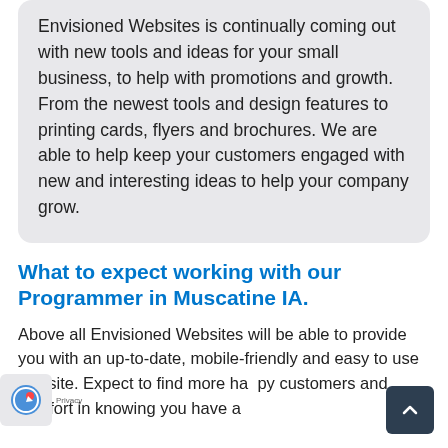Envisioned Websites is continually coming out with new tools and ideas for your small business, to help with promotions and growth. From the newest tools and design features to printing cards, flyers and brochures. We are able to help keep your customers engaged with new and interesting ideas to help your company grow.
What to expect working with our Programmer in Muscatine IA.
Above all Envisioned Websites will be able to provide you with an up-to-date, mobile-friendly and easy to use website. Expect to find more happy customers and comfort in knowing you have a